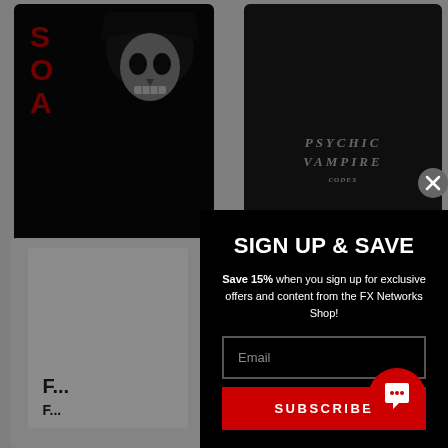[Figure (photo): Black long sleeve t-shirt with SOA letters in red and skull face graphic, Sons of Anarchy merchandise]
[Figure (photo): Dark gray long sleeve t-shirt with Psychic Vampire text logo]
Sons of Anarchy
Long Sleeve...
[Figure (photo): White long sleeve shirt at bottom left, partially visible]
SIGN UP & SAVE
Save 15% when you sign up for exclusive offers and content from the FX Networks Shop!
Email
SUBSCRIBE